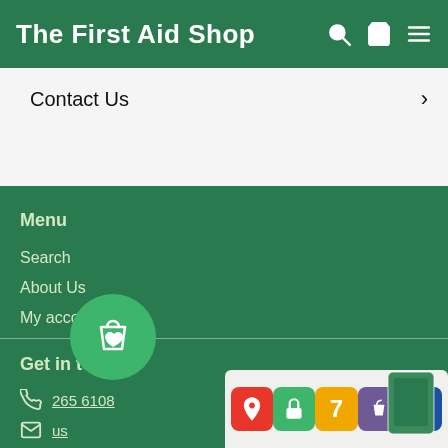The First Aid Shop
Contact Us
Menu
Search
About Us
My account
Get in touch
265 6108
Live chat
[Figure (screenshot): Floating green circular badge with a shopping bag and heart icon, plus a bottom app icon bar showing map pin, green lock, number 7, Shopify bag, and PCI badge icons]